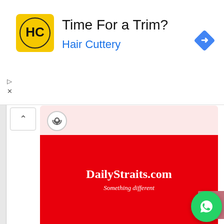[Figure (screenshot): Advertisement banner for Hair Cuttery with yellow logo, text 'Time For a Trim?' and 'Hair Cuttery' in blue, with a Google Ads diamond icon top right]
[Figure (screenshot): Mobile browser UI showing a podcast player panel with pink background and soundwave icon, above a red content block with 'DailyStraits.com' and 'Something different', with WhatsApp button bottom right]